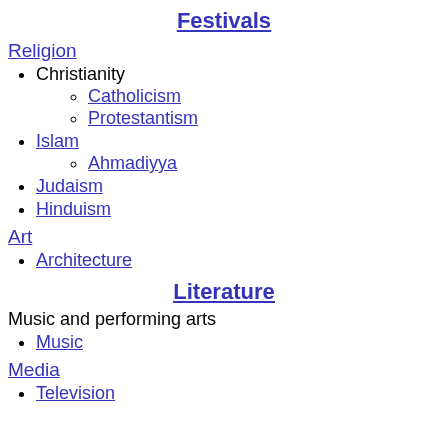Festivals
Religion
Christianity
Catholicism
Protestantism
Islam
Ahmadiyya
Judaism
Hinduism
Art
Architecture
Literature
Music and performing arts
Music
Media
Television